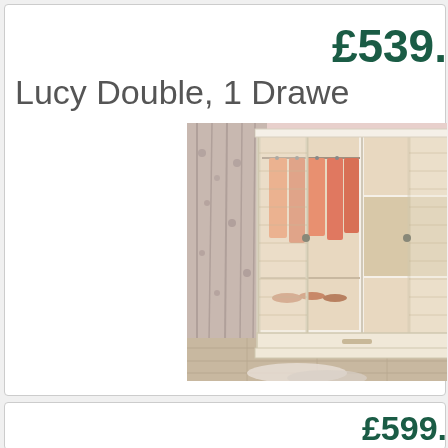£539.
Lucy Double, 1 Drawe
[Figure (photo): A cream/ivory wardrobe with rattan-panel doors open, showing hanging clothes and shelving inside, set in a bedroom with pink walls and floral curtains.]
£599.